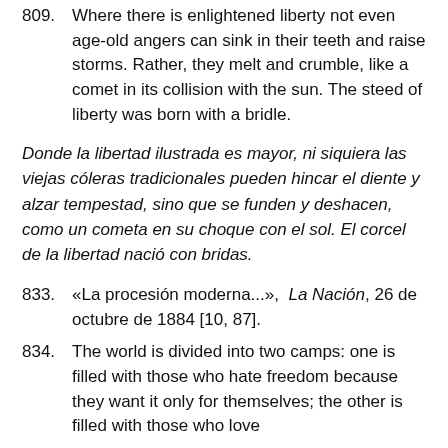809. Where there is enlightened liberty not even age-old angers can sink in their teeth and raise storms. Rather, they melt and crumble, like a comet in its collision with the sun. The steed of liberty was born with a bridle.
Donde la libertad ilustrada es mayor, ni siquiera las viejas cóleras tradicionales pueden hincar el diente y alzar tempestad, sino que se funden y deshacen, como un cometa en su choque con el sol. El corcel de la libertad nació con bridas.
833. «La procesión moderna...», La Nación, 26 de octubre de 1884 [10, 87].
834. The world is divided into two camps: one is filled with those who hate freedom because they want it only for themselves; the other is filled with those who love